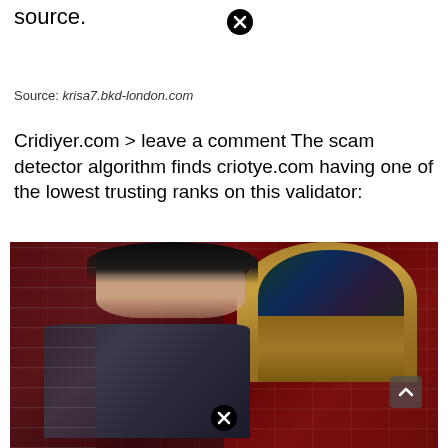source.
Source: krisa7.bkd-london.com
Cridiyer.com > leave a comment The scam detector algorithm finds criotye.com having one of the lowest trusting ranks on this validator:
[Figure (photo): A woman in an embroidered dark outfit posing in front of a brick wall with a wooden arched door/window with stained glass details]